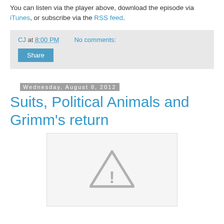You can listen via the player above, download the episode via iTunes, or subscribe via the RSS feed.
CJ at 8:00 PM    No comments:
Share
Wednesday, August 8, 2012
Suits, Political Animals and Grimm's return
[Figure (illustration): Broken image placeholder with a warning triangle and exclamation mark icon on a white/light grey background]